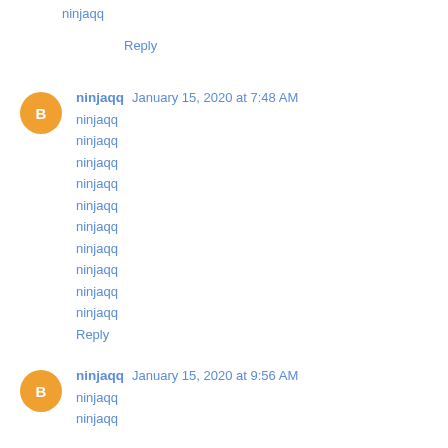ninjaqq
Reply
ninjaqq January 15, 2020 at 7:48 AM
ninjaqq
ninjaqq
ninjaqq
ninjaqq
ninjaqq
ninjaqq
ninjaqq
ninjaqq
ninjaqq
ninjaqq
Reply
ninjaqq January 15, 2020 at 9:56 AM
ninjaqq
ninjaqq